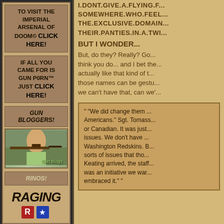I.DONT.GIVE.A.FLYING.F... SOMEWHERE.WHO.FEEL... THE.EXCLUSIVE.DOMAIN... THEIR.PANTIES.IN.A.TWI...
BUT I WONDER...
But, do they? Really? Go... think you do... and I bet the... actually like that kind of t... those names can be gestu... we can't have that, can we'...
TO VISIT THE IMPERIAL ARSENAL OF DOOM© CLICK HERE!
IF ALL YOU CAME FOR IS GUN P0RN™ JUST CLICK HERE!
GUN BLOGGERS!
[Figure (photo): Person holding a rifle outdoors, with 'Gun Blogs' label]
RINOS!
[Figure (logo): Raging... logo text in bold italic font]
" "We did change them ... Americans." Sgt. Tomass... or Canadian. It was just... issues. We don't have... Washington Redskins. B... sorts of issues that tho... Keating arrived, the staff... was an initiative we war... embraced it." "